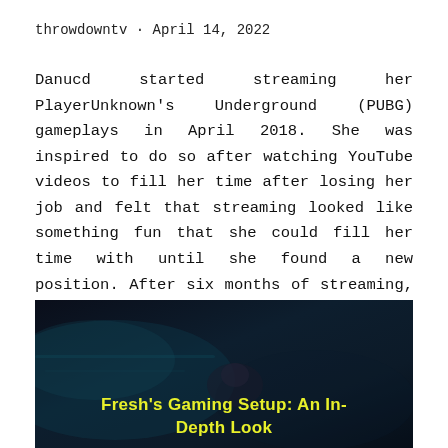throwdowntv · April 14, 2022
Danucd started streaming her PlayerUnknown's Underground (PUBG) gameplays in April 2018. She was inspired to do so after watching YouTube videos to fill her time after losing her job and felt that streaming looked like something fun that she could fill her time with until she found a new position. After six months of streaming, …
[Figure (screenshot): Dark screenshot with a dark blue/teal gradient background with overlay text reading "Fresh's Gaming Setup: An In-Depth Look" in yellow font]